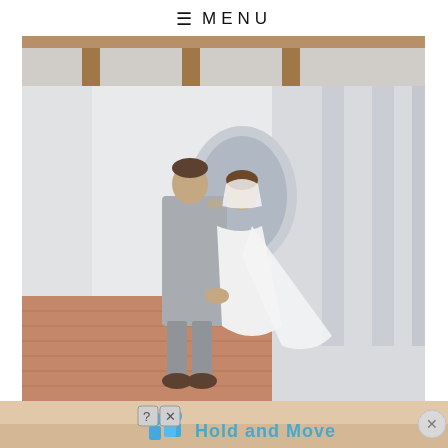≡ MENU
[Figure (photo): Wedding photo of a bride and groom kissing in a covered outdoor corridor with brick floor and white columns. The groom is wearing a light gray suit and the bride is in a white wedding dress with a long veil. They are holding hands.]
[Figure (infographic): Advertisement banner showing 'Hold and Move' with blue cartoon people icons and a help (?) button and close (X) button. Background is a sandy/wood texture.]